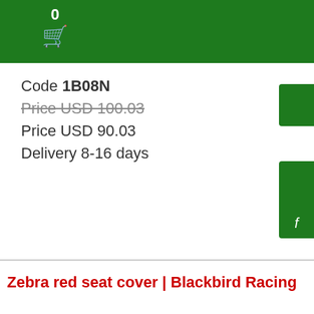0 (cart icon)
Code 1B08N
Price USD 100.03 (strikethrough)
Price USD 90.03
Delivery 8-16 days
Zebra red seat cover | Blackbird Racing